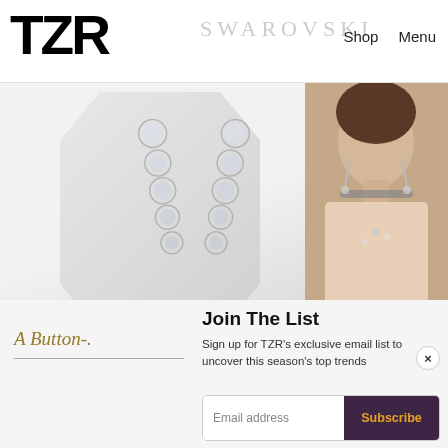TZR   SWAROVSKI   Shop   Menu
[Figure (photo): Swarovski advertisement showing diamond drop earrings on white background panel and a female model wearing crystal jewelry including choker necklace and earrings]
AND THE #1 HAIRCUT FOR 2022 IS...
[Figure (photo): Close-up of woman with blonde bob haircut on beige background, shown in the ad banner]
Join The List
Sign up for TZR’s exclusive email list to uncover this season’s top trends
A Button-.
Email address   Subscribe